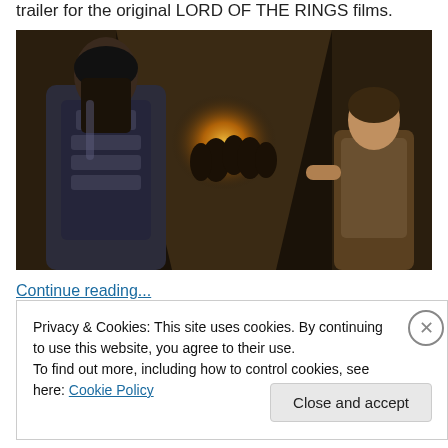trailer for the original LORD OF THE RINGS films.
[Figure (photo): Dark scene from The Hobbit or Lord of the Rings film showing a tall armored dwarf warrior facing a smaller figure in a dimly lit stone corridor with fire in the background.]
Continue reading...
Privacy & Cookies: This site uses cookies. By continuing to use this website, you agree to their use.
To find out more, including how to control cookies, see here: Cookie Policy
Close and accept